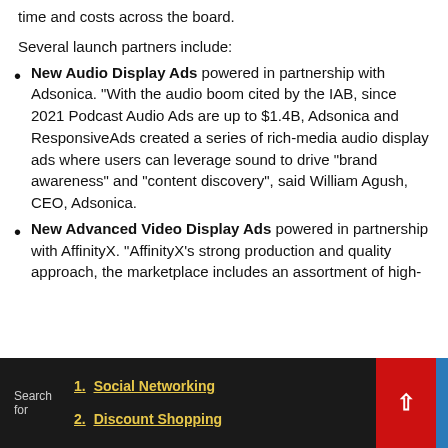time and costs across the board.
Several launch partners include:
New Audio Display Ads powered in partnership with Adsonica. “With the audio boom cited by the IAB, since 2021 Podcast Audio Ads are up to $1.4B, Adsonica and ResponsiveAds created a series of rich-media audio display ads where users can leverage sound to drive “brand awareness” and “content discovery”, said William Agush, CEO, Adsonica.
New Advanced Video Display Ads powered in partnership with AffinityX. “AffinityX’s strong production and quality approach, the marketplace includes an assortment of high-
1. Social Networking
2. Discount Shopping
Search for